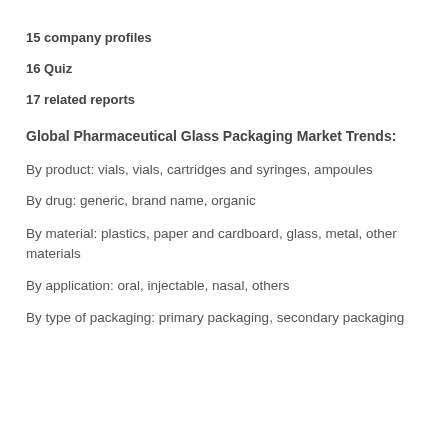15 company profiles
16 Quiz
17 related reports
Global Pharmaceutical Glass Packaging Market Trends:
By product: vials, vials, cartridges and syringes, ampoules
By drug: generic, brand name, organic
By material: plastics, paper and cardboard, glass, metal, other materials
By application: oral, injectable, nasal, others
By type of packaging: primary packaging, secondary packaging